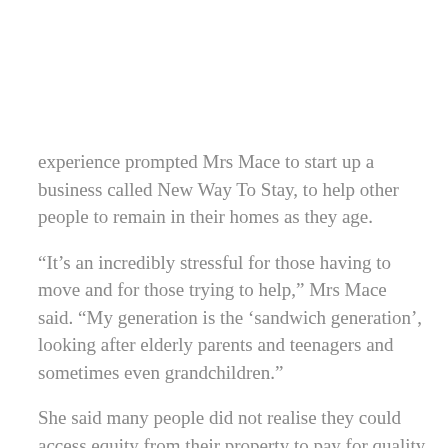experience prompted Mrs Mace to start up a business called New Way To Stay, to help other people to remain in their homes as they age.
“It’s an incredibly stressful for those having to move and for those trying to help,” Mrs Mace said. “My generation is the ‘sandwich generation’, looking after elderly parents and teenagers and sometimes even grandchildren.”
She said many people did not realise they could access equity from their property to pay for quality home care. Her idea is to play matchmaker, connecting the client with services to make it